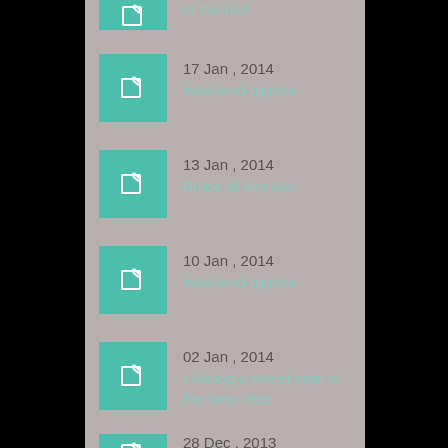of the ball
17 Jan , 2014 — Weekend update
13 Jan , 2014 — Brace of winners
10 Jan , 2014 — Weekend update
02 Jan , 2014 — Lollipop a sweet start to the New Year
28 Dec , 2013